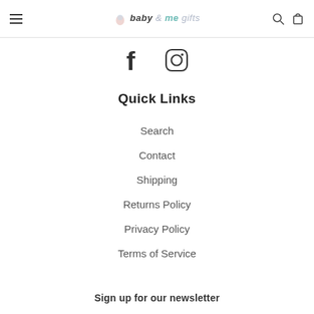baby & me gifts — navigation bar with hamburger menu, logo, search and cart icons
[Figure (other): Facebook and Instagram social media icons]
Quick Links
Search
Contact
Shipping
Returns Policy
Privacy Policy
Terms of Service
Sign up for our newsletter